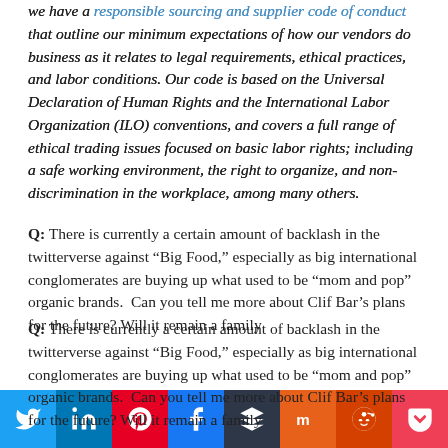we have a responsible sourcing and supplier code of conduct that outline our minimum expectations of how our vendors do business as it relates to legal requirements, ethical practices, and labor conditions. Our code is based on the Universal Declaration of Human Rights and the International Labor Organization (ILO) conventions, and covers a full range of ethical trading issues focused on basic labor rights; including a safe working environment, the right to organize, and non-discrimination in the workplace, among many others.
Q: There is currently a certain amount of backlash in the twitterverse against “Big Food,” especially as big international conglomerates are buying up what used to be “mom and pop” organic brands. Can you tell me more about Clif Bar’s plans for the future? Will it remain a family...